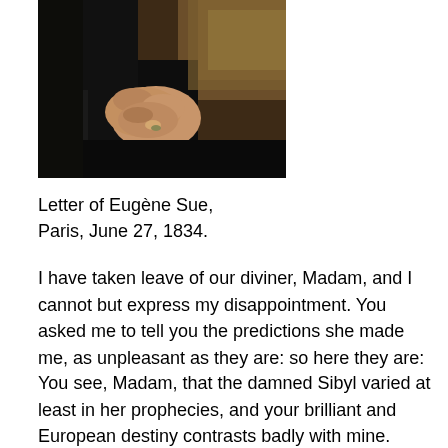[Figure (photo): Close-up painting or photograph of a person's hands folded together, wearing dark clothing, seated in a chair with dark upholstery, holding what appears to be a small object or rosary. Dark, muted tones with brownish background.]
Letter of Eugène Sue,
Paris, June 27, 1834.
I have taken leave of our diviner, Madam, and I cannot but express my disappointment. You asked me to tell you the predictions she made me, as unpleasant as they are: so here they are:
You see, Madam, that the damned Sibyl varied at least in her prophecies, and your brilliant and European destiny contrasts badly with mine. After I was recognized as one of her assiduous believers, the accursed witch made me a [text continues below]